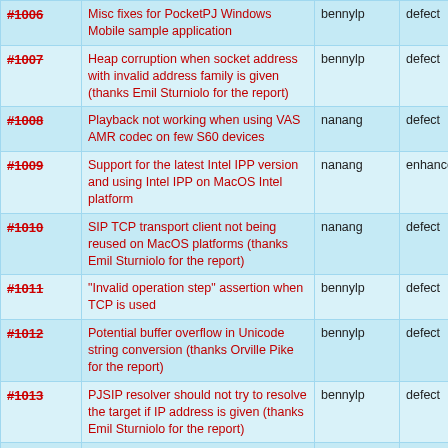| ID | Description | Assignee | Type |
| --- | --- | --- | --- |
| #1006 | Misc fixes for PocketPJ Windows Mobile sample application | bennylp | defect |
| #1007 | Heap corruption when socket address with invalid address family is given (thanks Emil Sturniolo for the report) | bennylp | defect |
| #1008 | Playback not working when using VAS AMR codec on few S60 devices | nanang | defect |
| #1009 | Support for the latest Intel IPP version and using Intel IPP on MacOS Intel platform | nanang | enhancement |
| #1010 | SIP TCP transport client not being reused on MacOS platforms (thanks Emil Sturniolo for the report) | nanang | defect |
| #1011 | "Invalid operation step" assertion when TCP is used | bennylp | defect |
| #1012 | Potential buffer overflow in Unicode string conversion (thanks Orville Pike for the report) | bennylp | defect |
| #1013 | PJSIP resolver should not try to resolve the target if IP address is given (thanks Emil Sturniolo for the report) | bennylp | defect |
| #1014 | Configurable cipher type/list setting in SIP transport TLS (thanks Tal Fromm for the suggestion) | bennylp | enhancement |
| #1015 | Disable ioqueue Completion Port backend | bennylp | defect |
| #1016 | Native Linux ALSA audio device | nanang | enhancement |